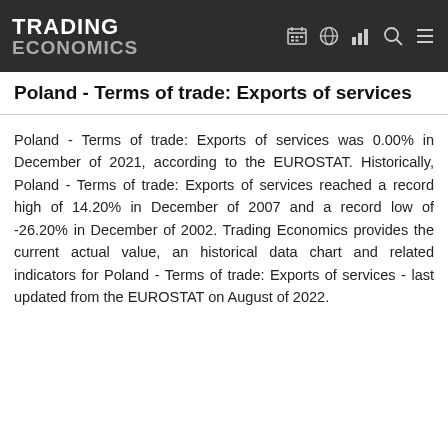TRADING ECONOMICS
Poland - Terms of trade: Exports of services
Poland - Terms of trade: Exports of services was 0.00% in December of 2021, according to the EUROSTAT. Historically, Poland - Terms of trade: Exports of services reached a record high of 14.20% in December of 2007 and a record low of -26.20% in December of 2002. Trading Economics provides the current actual value, an historical data chart and related indicators for Poland - Terms of trade: Exports of services - last updated from the EUROSTAT on August of 2022.